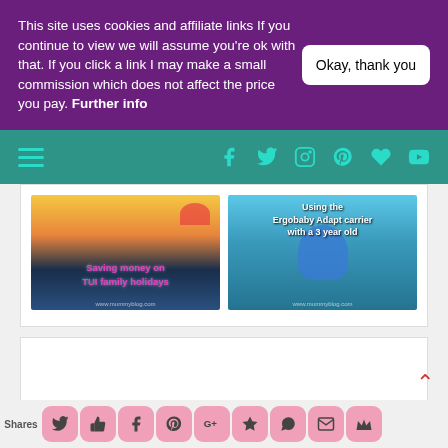This site uses cookies and affiliate links If you continue to view we will assume you're ok with that. If you click a link I may make a small commission which does not affect the price you pay. Further info
Okay, thank you
[Figure (screenshot): Teal navigation bar with hamburger menu on left and social media icons (Facebook, Twitter, Instagram, Pinterest, heart, YouTube) on right in teal color]
[Figure (photo): Two thumbnail images side by side: left shows TUI airplane tail with text 'Saving money on TUI family holidays' in pink; right shows Ergobaby carrier with text 'Using the Ergobaby Adapt carrier with a 3 year old' in white]
[Figure (screenshot): Share bar at bottom with Shares label and social sharing buttons: Twitter, thumbs up, Facebook, Pinterest, Google+, star, WhatsApp, email, crown — all in pink rounded buttons]